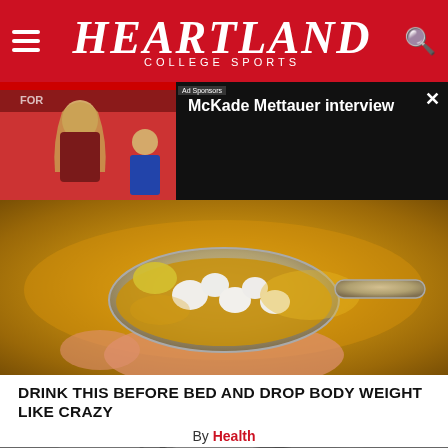Heartland College Sports
[Figure (screenshot): Video player overlay showing McKade Mettauer interview with thumbnail of athlete in maroon jersey on left and black panel with title on right. Close button (X) in top right corner.]
McKade Mettauer interview
[Figure (photo): Close-up photo of a metal spoon held by a hand, containing white chunks and golden liquid, suggesting a health remedy drink.]
DRINK THIS BEFORE BED AND DROP BODY WEIGHT LIKE CRAZY
By Health